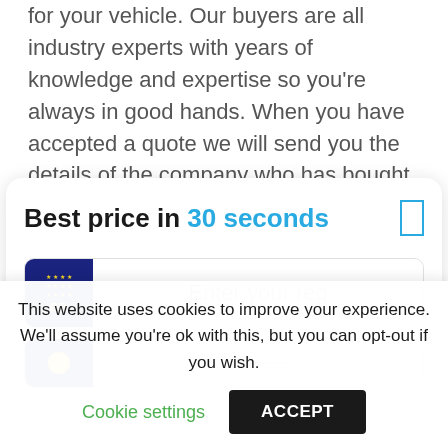for your vehicle. Our buyers are all industry experts with years of knowledge and expertise so you're always in good hands. When you have accepted a quote we will send you the details of the company who has bought your vehicle so that you know who will be
Best price in 30 seconds
[Figure (other): Vehicle registration input field with UK GB badge showing EU stars and 'GB' text, and a placeholder 'Enter your reg']
[Figure (other): Second input row with UK GB badge and yellow circle icon, partially visible]
This website uses cookies to improve your experience. We'll assume you're ok with this, but you can opt-out if you wish.
Cookie settings   ACCEPT